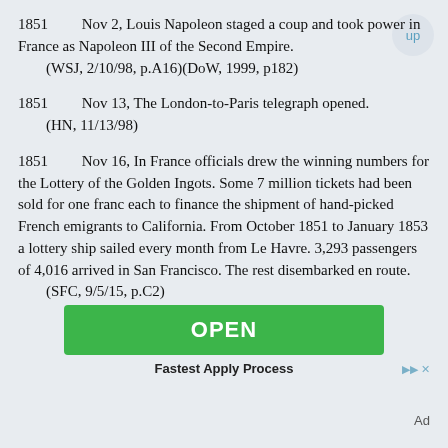1851     Nov 2, Louis Napoleon staged a coup and took power in France as Napoleon III of the Second Empire.
    (WSJ, 2/10/98, p.A16)(DoW, 1999, p182)
1851     Nov 13, The London-to-Paris telegraph opened.
    (HN, 11/13/98)
1851     Nov 16, In France officials drew the winning numbers for the Lottery of the Golden Ingots. Some 7 million tickets had been sold for one franc each to finance the shipment of hand-picked French emigrants to California. From October 1851 to January 1853 a lottery ship sailed every month from Le Havre. 3,293 passengers of 4,016 arrived in San Francisco. The rest disembarked en route.
    (SFC, 9/5/15, p.C2)